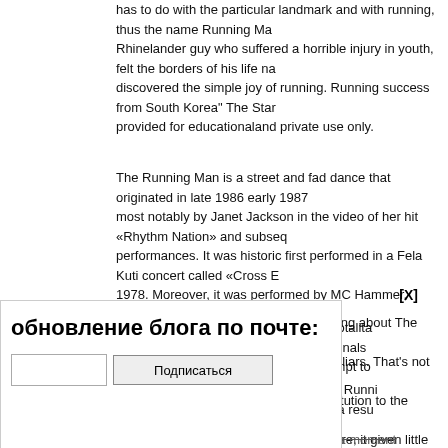has to do with the particular landmark and with running, thus the name Running Man. Rhinelander guy who suffered a horrible injury in youth, felt the borders of his life narrowing, discovered the simple joy of running. Running success from South Korea" The Star... provided for educationaland private use only.
The Running Man is a street and fad dance that originated in late 1986 early 1987 most notably by Janet Jackson in the video of her hit «Rhythm Nation» and subsequent performances. It was historic first performed in a Fela Kuti concert called «Cross E...» 1978. Moreover, it was performed by MC Hammer, Bobby Brown, Milli Vanilli, and V... realized renewed popularity.
That is perhaps the only remarkable thing about The Running Man It chooses a ha... appear to be populated with murdering liars. That's not 80s Activity! That's some hi... Kotto to «quit trying to teach the Constitution to the street punks.» However, in actu... message. Using some on-the-nose satire, it given little zingers like telling folks it is... exhorts her callers to do often). I'm convinced his Republican buddies scolded Amo...
[X]
обновление блога по почте:
Подписаться
oming a totalita... icted criminals ... ers» attempt to...
owie. The Runni... e and as a resu... Running Man game show. The first shot was rejected and a moment presented to h...